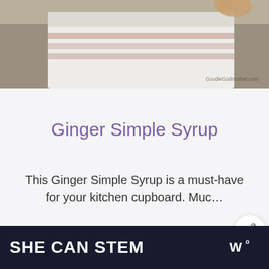[Figure (photo): Photo of a kitchen towel with pink/beige stripes on a wooden surface, partially showing a cat in the top right corner. Watermark reads 'GoodieGodmother.com'.]
Ginger Simple Syrup
This Ginger Simple Syrup is a must-have for your kitchen cupboard. Muc…
Read More
[Figure (other): Share/social media button icon (circular white button with share arrows icon)]
[Figure (other): What's Next panel showing thumbnail image and text 'WHAT'S NEXT → How to Make Cinnamon...']
SHE CAN STEM